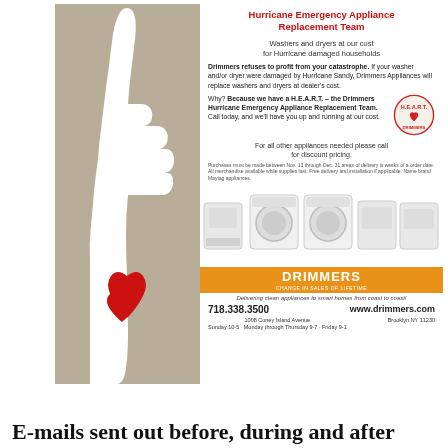[Figure (advertisement): Drimmers Hurricane Emergency Appliance Replacement Team advertisement. Features a hand with a red heart on a beige background on the left, and text content with appliance images on the right. Includes phone 718.338.3500, website www.drimmers.com, address 1008 Coney Island Avenue, Brooklyn NY 11230.]
E-mails sent out before, during and after